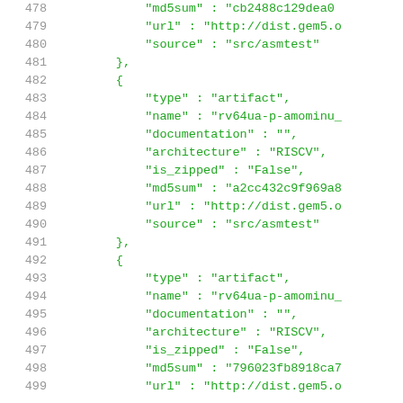Code snippet showing JSON artifact definitions with line numbers 478-499, including fields: md5sum, url, source, type, name, documentation, architecture, is_zipped for RISCV artifacts rv64ua-p-amominu_*